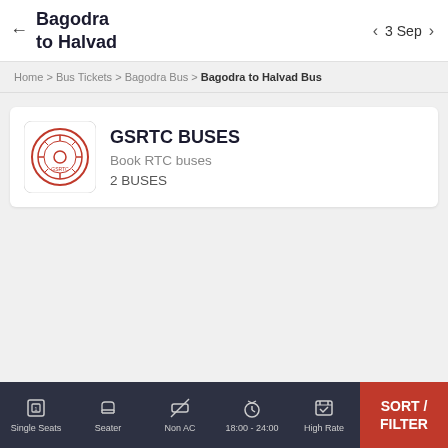Bagodra to Halvad | 3 Sep
Home > Bus Tickets > Bagodra Bus > Bagodra to Halvad Bus
[Figure (logo): GSRTC circular logo in red and white]
GSRTC BUSES
Book RTC buses
2 BUSES
Single Seats | Seater | Non AC | 18:00 - 24:00 | High Rate | SORT / FILTER